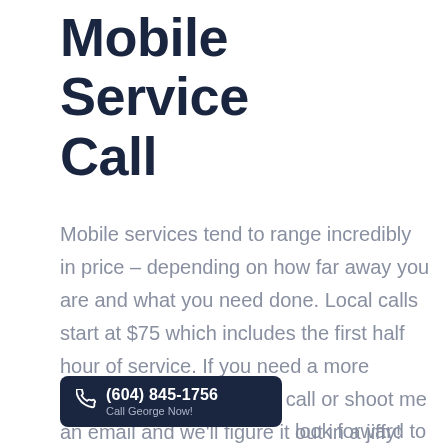Mobile Service Call
Mobile services tend to range incredibly in price – depending on how far away you are and what you need done. Local calls start at $75 which includes the first half hour of service. If you need a more specific quote, give me a call or shoot me an email and we'll figure it out in a jiffy!
(604) 845-1756 Call George Now!
look forward to